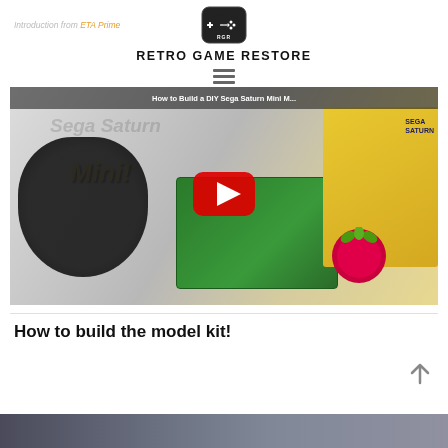[Figure (logo): RGR retro game controller logo icon in rounded square]
RETRO GAME RESTORE
Introduction from ETA Prime
[Figure (screenshot): YouTube video thumbnail showing Sega Saturn Mini mod with Raspberry Pi board, game controllers, and Sega Saturn Mini text. Red YouTube play button in center.]
How to build the model kit!
[Figure (photo): Bottom strip showing partial image of another content section]